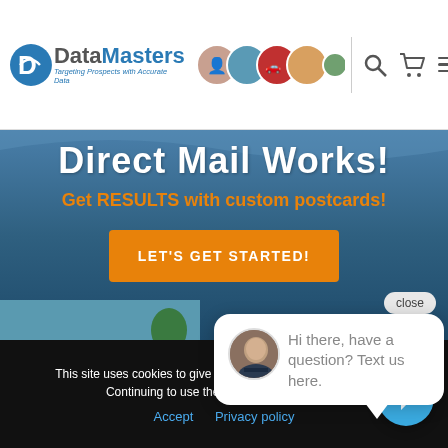[Figure (logo): DataMasters logo with tagline 'Targeting Prospects with Accurate Data' and circular photo strip of people, car, and outdoor scenes]
Direct Mail Works!
Get RESULTS with custom postcards!
LET'S GET STARTED!
[Figure (photo): Photo of a house with swimming pool and outdoor furniture]
close
Hi there, have a question? Text us here.
This site uses cookies to give you the best experience possible. Continuing to use the site implies you agree.
Accept   Privacy policy